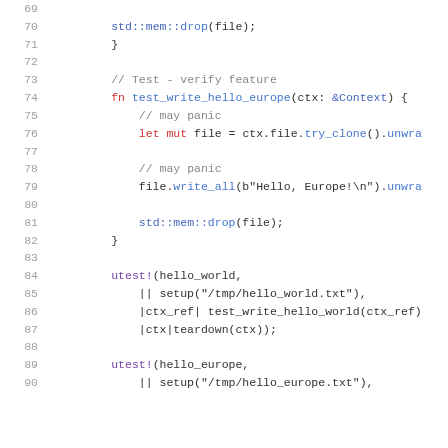[Figure (screenshot): Source code snippet in Rust, lines 69-90, showing test functions for writing hello world and hello europe to files, with utest! macro invocations.]